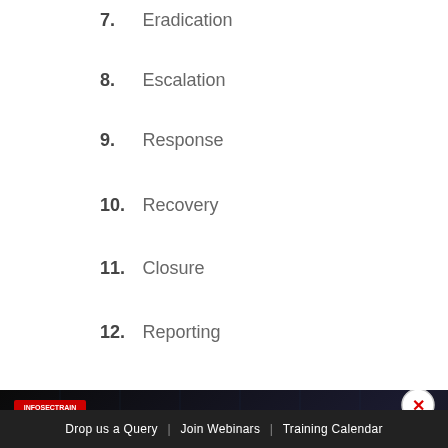7. Eradication
8. Escalation
9. Response
10. Recovery
11. Closure
12. Reporting
[Figure (screenshot): CISSP Domain 5 course banner with instructor Manikandan, featuring Free Expert Master Class badge, WhatsApp button, Message button, and TOP button. Dark themed banner with red accents on black background.]
Drop us a Query  |  Join Webinars  |  Training Calendar